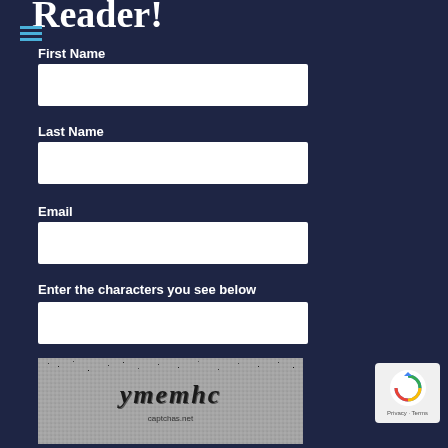Reader!
[Figure (other): Hamburger menu icon with three horizontal blue lines]
First Name
[Figure (other): Empty white text input field for First Name]
Last Name
[Figure (other): Empty white text input field for Last Name]
Email
[Figure (other): Empty white text input field for Email]
Enter the characters you see below
[Figure (other): Empty white text input field for captcha characters]
[Figure (other): CAPTCHA image showing distorted text 'ymemhc' on noisy background with 'captchas.net' watermark]
[Figure (other): reCAPTCHA widget showing Google reCAPTCHA logo with Privacy and Terms links]